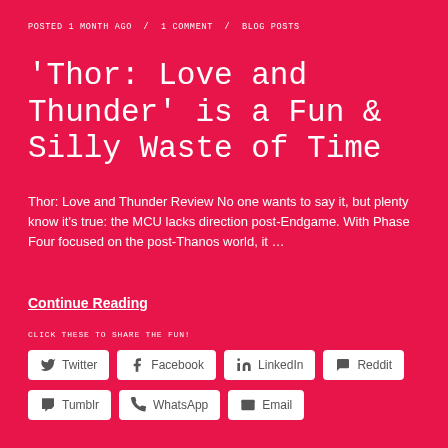POSTED 1 MONTH AGO / 1 COMMENT / BLOG POSTS
'Thor: Love and Thunder' is a Fun & Silly Waste of Time
Thor: Love and Thunder Review No one wants to say it, but plenty know it's true: the MCU lacks direction post-Endgame. With Phase Four focused on the post-Thanos world, it …
Continue Reading
CLICK THESE TO SHARE THE FUN!
Twitter  Facebook  LinkedIn  Reddit  Tumblr  WhatsApp  Email
LIKE THIS:
Loading...